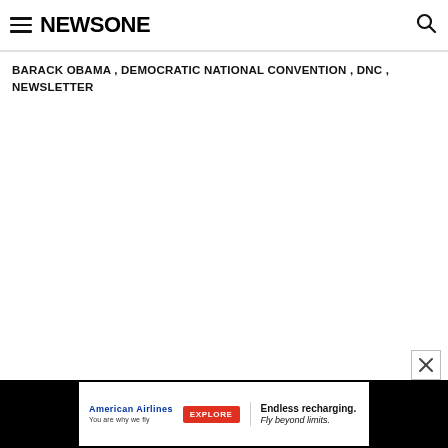NEWSONE
BARACK OBAMA , DEMOCRATIC NATIONAL CONVENTION , DNC , NEWSLETTER
[Figure (other): Advertisement banner for American Airlines: logo, EXPLORE button, 'Endless recharging. Fly beyond limits.']